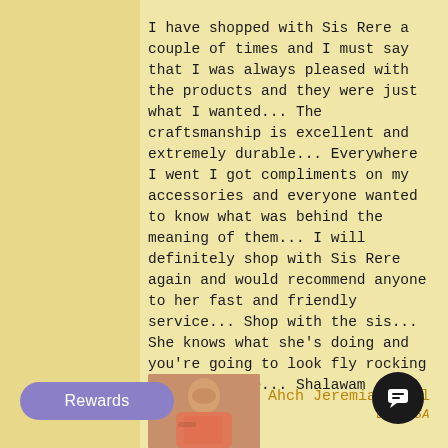I have shopped with Sis Rere a couple of times and I must say that I was always pleased with the products and they were just what I wanted... The craftsmanship is excellent and extremely durable... Everywhere I went I got compliments on my accessories and everyone wanted to know what was behind the meaning of them... I will definitely shop with Sis Rere again and would recommend anyone to her fast and friendly service... Shop with the sis... She knows what she's doing and you're going to look fly rocking Ahayah's name... Shalawam family...
Ahch Jeremiah Bell
LA, USA
[Figure (photo): Photo of a person in a pink/coral outfit, partially visible at the bottom left of the content area]
Rewards